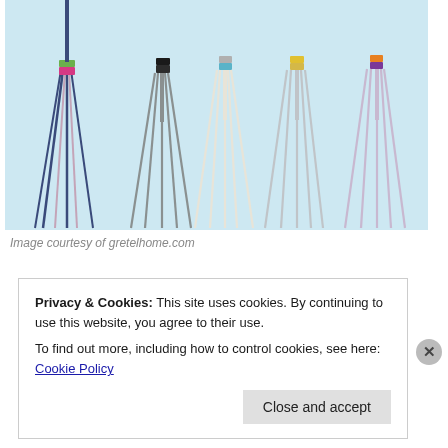[Figure (photo): Multiple colorful kitchen whisks with colored silicone bands (green, pink, black, gray, blue, yellow, orange, purple) standing upright against a light blue background]
Image courtesy of gretelhome.com
Privacy & Cookies: This site uses cookies. By continuing to use this website, you agree to their use.
To find out more, including how to control cookies, see here: Cookie Policy
Close and accept